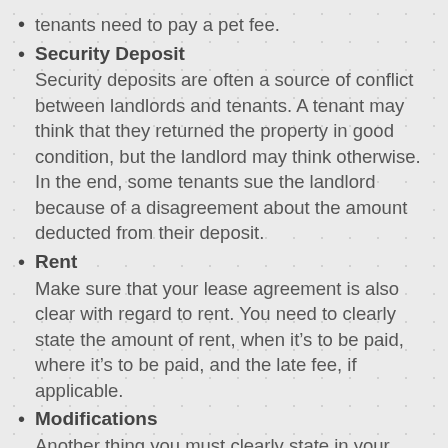tenants need to pay a pet fee.
Security Deposit
Security deposits are often a source of conflict between landlords and tenants. A tenant may think that they returned the property in good condition, but the landlord may think otherwise. In the end, some tenants sue the landlord because of a disagreement about the amount deducted from their deposit.
Rent
Make sure that your lease agreement is also clear with regard to rent. You need to clearly state the amount of rent, when it’s to be paid, where it’s to be paid, and the late fee, if applicable.
Modifications
Another thing you must clearly state in your...